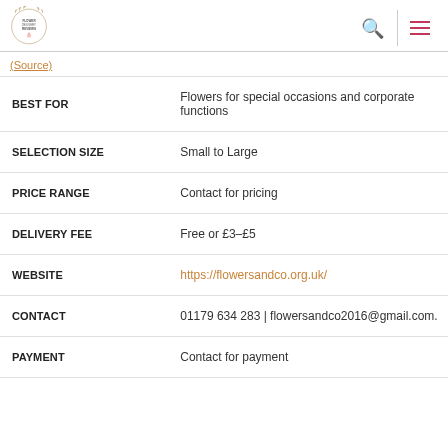Flower Delivery Reviews logo, search icon, menu icon
(Source)
|  |  |
| --- | --- |
| BEST FOR | Flowers for special occasions and corporate functions |
| SELECTION SIZE | Small to Large |
| PRICE RANGE | Contact for pricing |
| DELIVERY FEE | Free or £3–£5 |
| WEBSITE | https://flowersandco.org.uk/ |
| CONTACT | 01179 634 283 | flowersandco2016@gmail.com. |
| PAYMENT | Contact for payment |